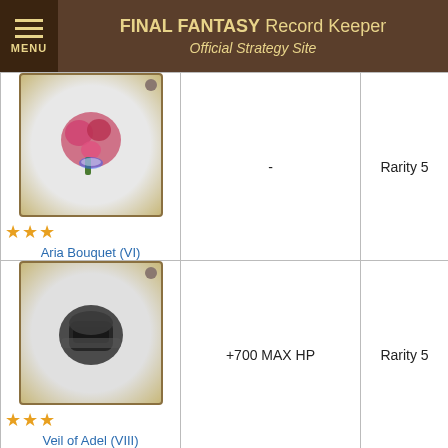FINAL FANTASY Record Keeper Official Strategy Site
| Item | Effect | Rarity |
| --- | --- | --- |
| Aria Bouquet (VI) | - | Rarity 5 |
| Veil of Adel (VIII) | +700 MAX HP | Rarity 5 |
| Silver Pinion (IX) | - | Rarity 5 |
| (partial item) | Adds moderate fire resistance. Adds moderate ice resistance. | Rarity 5 |